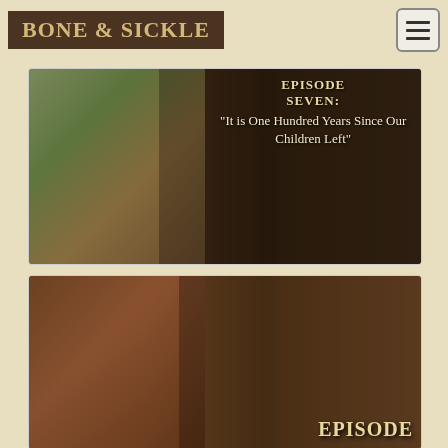BONE & SICKLE
[Figure (illustration): Podcast episode artwork for Bone & Sickle Episode Seven: 'It is One Hundred Years Since Our Children Left'. Shows a large skeletal Death figure in center, dancing villagers on left side, and a figure in an alley on the right.]
[Figure (illustration): Podcast episode artwork for Bone & Sickle, another episode. Shows two severed/decapitated heads and a snake, classical painting style. Text reads 'EPISODE' at bottom right.]